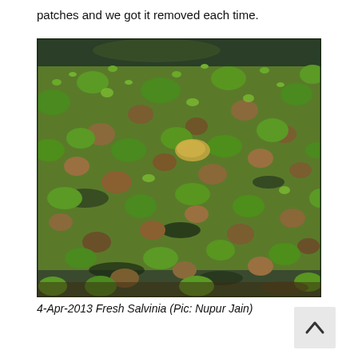patches and we got it removed each time.
[Figure (photo): Close-up photograph of fresh Salvinia (aquatic fern) floating on water surface, showing green fronds and brownish sporocarps mixed together densely.]
4-Apr-2013 Fresh Salvinia (Pic: Nupur Jain)